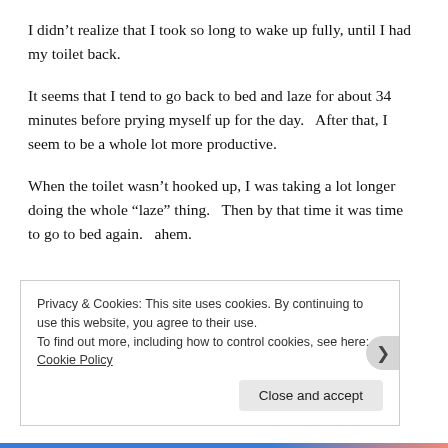I didn’t realize that I took so long to wake up fully, until I had my toilet back.
It seems that I tend to go back to bed and laze for about 34 minutes before prying myself up for the day.   After that, I seem to be a whole lot more productive.
When the toilet wasn’t hooked up, I was taking a lot longer doing the whole “laze” thing.   Then by that time it was time to go to bed again.   ahem.
Privacy & Cookies: This site uses cookies. By continuing to use this website, you agree to their use.
To find out more, including how to control cookies, see here: Cookie Policy